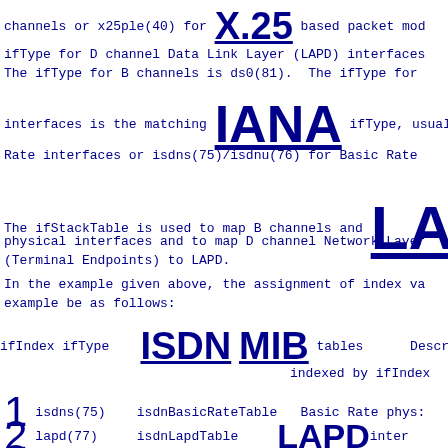channels or x25ple(40) for X.25 based packet mod
ifType for D channel Data Link Layer (LAPD) interfaces
The ifType for B channels is ds0(81).  The ifType for
interfaces is the matching IANA ifType, usually
Rate interfaces or isdns(75)/isdnu(76) for Basic Rate
The ifStackTable is used to map B channels and LAP
physical interfaces and to map D channel Network Layer
(Terminal Endpoints) to LAPD.
In the example given above, the assignment of index va
example be as follows:
ifIndex ifType   ISDN MIB tables   Descrip
indexed by ifIndex
1   isdns(75)   isdnBasicRateTable   Basic Rate phys:
2   lapd(77)    isdnLapdTable        LAPD inter
3   x25ple(40)  isdnEndpointTable    X.25 Packe
4   ISDN